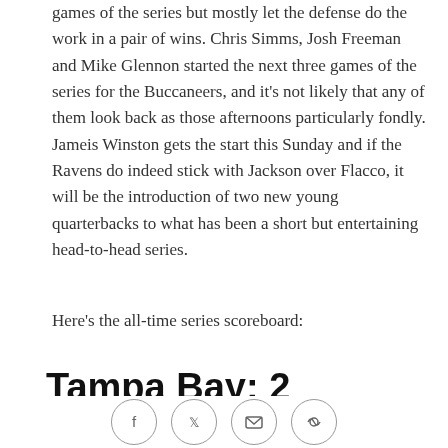games of the series but mostly let the defense do the work in a pair of wins. Chris Simms, Josh Freeman and Mike Glennon started the next three games of the series for the Buccaneers, and it's not likely that any of them look back as those afternoons particularly fondly. Jameis Winston gets the start this Sunday and if the Ravens do indeed stick with Jackson over Flacco, it will be the introduction of two new young quarterbacks to what has been a short but entertaining head-to-head series.
Here's the all-time series scoreboard:
Tampa Bay: 2
[Figure (photo): Partial image strip showing Buccaneers logo text 'BUCS' with team logo and player photos, partially visible at bottom of page]